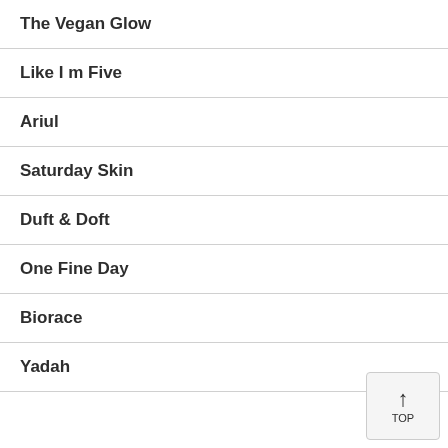The Vegan Glow
Like I m Five
Ariul
Saturday Skin
Duft & Doft
One Fine Day
Biorace
Yadah